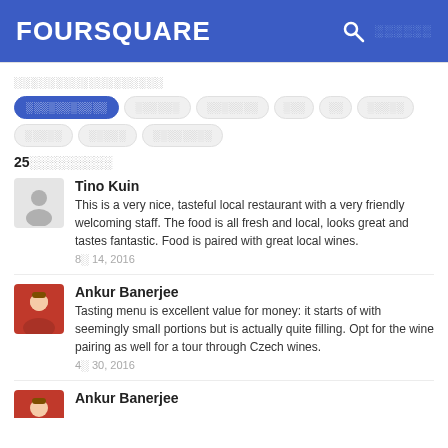FOURSQUARE
░░░░░░░░░░░░░░░░░░
░░░░░░░░░░░ ░░░░░░ ░░░░░░░ ░░░ ░░ ░░░░░ ░░░░░ ░░░░░ ░░░░░░░░
25░░░░░░░░░
Tino Kuin
This is a very nice, tasteful local restaurant with a very friendly welcoming staff. The food is all fresh and local, looks great and tastes fantastic. Food is paired with great local wines.
8░ 14, 2016
Ankur Banerjee
Tasting menu is excellent value for money: it starts of with seemingly small portions but is actually quite filling. Opt for the wine pairing as well for a tour through Czech wines.
4░ 30, 2016
Ankur Banerjee